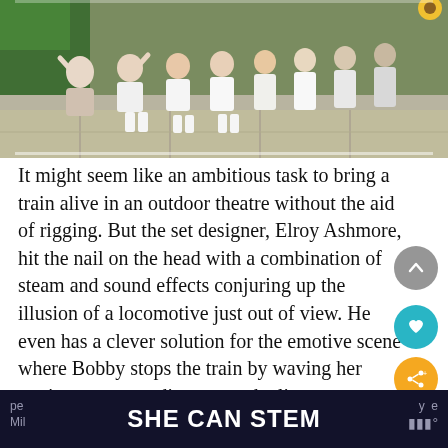[Figure (photo): Group of children and adults sitting outdoors on stone steps, some waving, in front of a green wall/fence. Appears to be a theatrical or school setting.]
It might seem like an ambitious task to bring a train alive in an outdoor theatre without the aid of rigging. But the set designer, Elroy Ashmore, hit the nail on the head with a combination of steam and sound effects conjuring up the illusion of a locomotive just out of view. He even has a clever solution for the emotive scene where Bobby stops the train by waving her petticoat to avert disaster on the line.
We were treated to the first matinee
pe    SHE CAN STEM    y  e
Mil                              m°